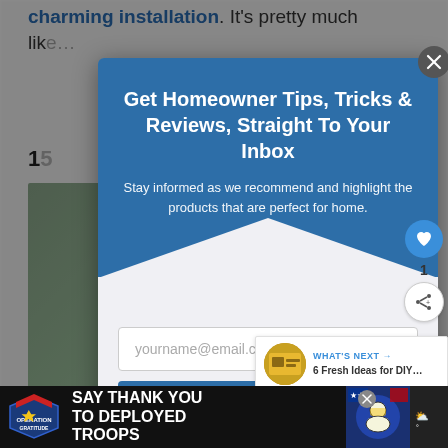charming installation. It's pretty much like … co…
15
[Figure (screenshot): Email subscription modal popup overlay on a home improvement website. Modal has blue header with title 'Get Homeowner Tips, Tricks & Reviews, Straight To Your Inbox', subtitle text, email input field, and Subscribe button.]
Get Homeowner Tips, Tricks & Reviews, Straight To Your Inbox
Stay informed as we recommend and highlight the products that are perfect for home.
yourname@email.com
SUBSCRIBE!
*perfectforhome.com does not share your email with
WHAT'S NEXT → 6 Fresh Ideas for DIY…
SAY THANK YOU TO DEPLOYED TROOPS